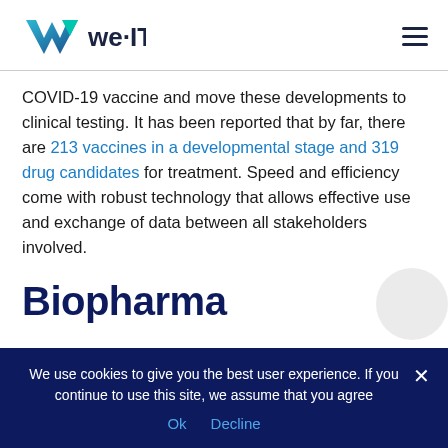we·IT
COVID-19 vaccine and move these developments to clinical testing. It has been reported that by far, there are 213 vaccines in a developmental stage and 319 drug candidates for treatment. Speed and efficiency come with robust technology that allows effective use and exchange of data between all stakeholders involved.
Biopharma
We use cookies to give you the best user experience. If you continue to use this site, we assume that you agree